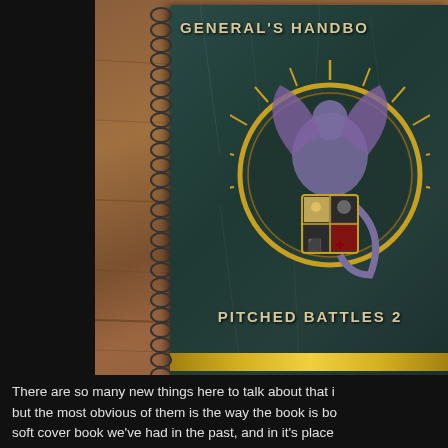[Figure (photo): Photo of a spiral-bound book — General's Handbook Pitched Battles 2 — showing its dark teal cover with a demon/creature holding a heraldic shield, and a golden band at the bottom. The book is placed on a wooden surface. The left portion of the image is black (outside the frame).]
There are so many new things here to talk about that i but the most obvious of them is the way the book is bo soft cover book we've had in the past, and in it's place bound book. This allows you to lay the book flat when when this book will be opened the most. It also has an